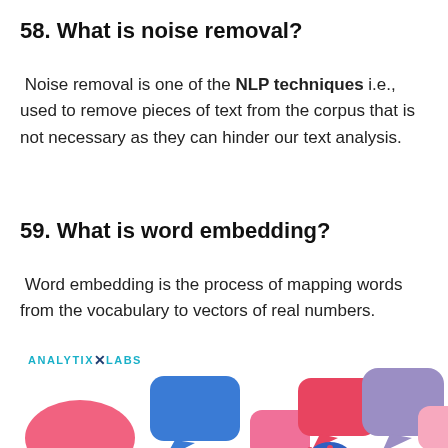58. What is noise removal?
Noise removal is one of the NLP techniques i.e., used to remove pieces of text from the corpus that is not necessary as they can hinder our text analysis.
59. What is word embedding?
Word embedding is the process of mapping words from the vocabulary to vectors of real numbers.
[Figure (illustration): AnalytixLabs logo followed by an illustration of colorful speech bubbles (blue, red/pink, purple, light pink) floating above cartoon figures of people talking.]